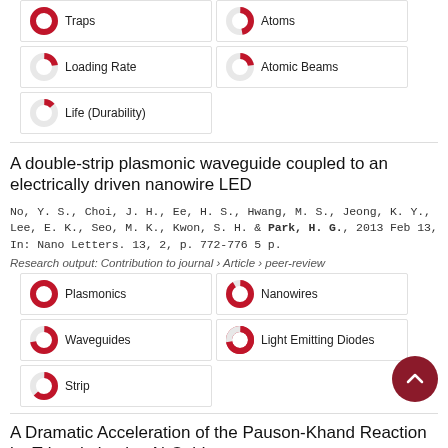Traps (100%)
Atoms (47%)
Loading Rate (22%)
Atomic Beams (22%)
Life (Durability) (13%)
A double-strip plasmonic waveguide coupled to an electrically driven nanowire LED
No, Y. S., Choi, J. H., Ee, H. S., Hwang, M. S., Jeong, K. Y., Lee, E. K., Seo, M. K., Kwon, S. H. & Park, H. G., 2013 Feb 13, In: Nano Letters. 13, 2, p. 772-776 5 p.
Research output: Contribution to journal › Article › peer-review
Plasmonics (100%)
Nanowires (91%)
Waveguides (72%)
Light Emitting Diodes (72%)
Strip (63%)
A Dramatic Acceleration of the Pauson-Khand Reaction by Trimethylamine N-Oxide